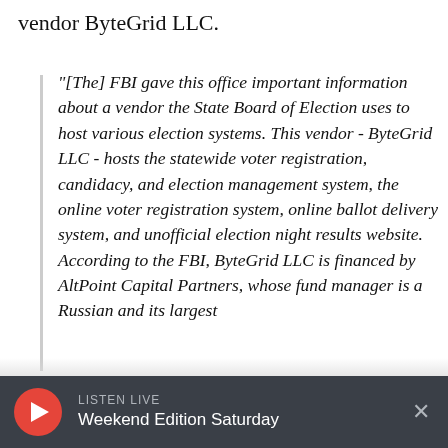vendor ByteGrid LLC.
"[The] FBI gave this office important information about a vendor the State Board of Election uses to host various election systems. This vendor - ByteGrid LLC - hosts the statewide voter registration, candidacy, and election management system, the online voter registration system, online ballot delivery system, and unofficial election night results website. According to the FBI, ByteGrid LLC is financed by AltPoint Capital Partners, whose fund manager is a Russian and its largest
LISTEN LIVE
Weekend Edition Saturday